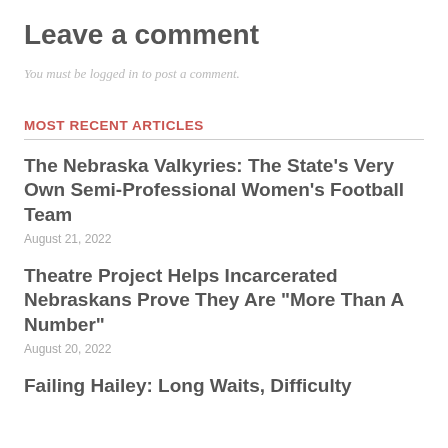Leave a comment
You must be logged in to post a comment.
MOST RECENT ARTICLES
The Nebraska Valkyries: The State’s Very Own Semi-Professional Women’s Football Team
August 21, 2022
Theatre Project Helps Incarcerated Nebraskans Prove They Are “More Than A Number”
August 20, 2022
Failing Hailey: Long Waits, Difficulty